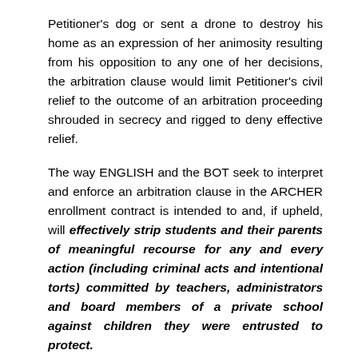Petitioner's dog or sent a drone to destroy his home as an expression of her animosity resulting from his opposition to any one of her decisions, the arbitration clause would limit Petitioner's civil relief to the outcome of an arbitration proceeding shrouded in secrecy and rigged to deny effective relief.
The way ENGLISH and the BOT seek to interpret and enforce an arbitration clause in the ARCHER enrollment contract is intended to and, if upheld, will effectively strip students and their parents of meaningful recourse for any and every action (including criminal acts and intentional torts) committed by teachers, administrators and board members of a private school against children they were entrusted to protect.
Petitioner also contends that this adhesive, imbalanced, overly broad arbitration provision is unconscionable for